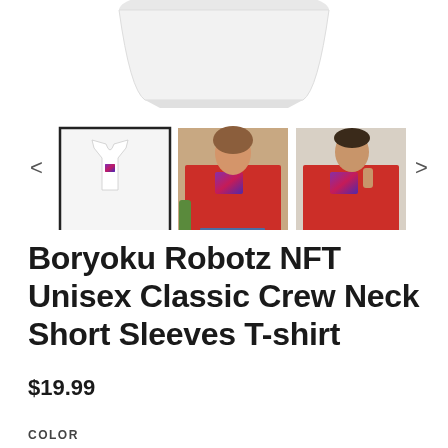[Figure (photo): Product image gallery showing a white t-shirt thumbnail (selected, with border), a woman in a red t-shirt with NFT print, and a man in a red t-shirt with NFT print. Navigation arrows on left and right sides. Top shows partial white lamp/product shape.]
Boryoku Robotz NFT Unisex Classic Crew Neck Short Sleeves T-shirt
$19.99
COLOR